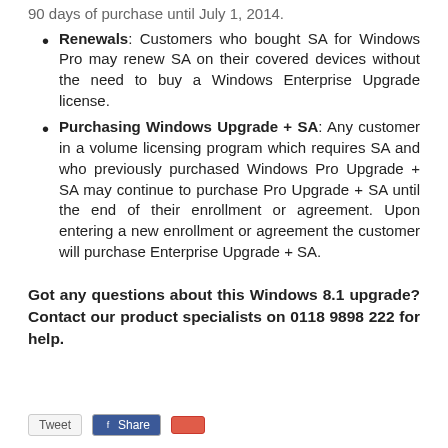90 days of purchase until July 1, 2014.
Renewals: Customers who bought SA for Windows Pro may renew SA on their covered devices without the need to buy a Windows Enterprise Upgrade license.
Purchasing Windows Upgrade + SA: Any customer in a volume licensing program which requires SA and who previously purchased Windows Pro Upgrade + SA may continue to purchase Pro Upgrade + SA until the end of their enrollment or agreement. Upon entering a new enrollment or agreement the customer will purchase Enterprise Upgrade + SA.
Got any questions about this Windows 8.1 upgrade? Contact our product specialists on 0118 9898 222 for help.